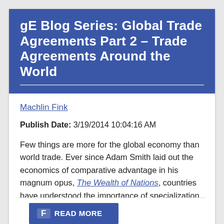gE Blog Series: Global Trade Agreements Part 2 – Trade Agreements Around the World
Machlin Fink
Publish Date: 3/19/2014 10:04:16 AM
Few things are more for the global economy than world trade. Ever since Adam Smith laid out the economics of comparative advantage in his magnum opus, The Wealth of Nations, countries have understood the importance of specialization and trade. The importance of trade remains the same today - if not more important.
READ MORE